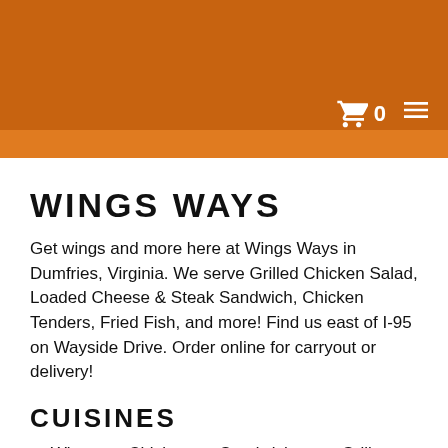[Figure (photo): Orange-tinted restaurant header banner with food imagery and shopping cart icon showing 0 and hamburger menu icon in white]
WINGS WAYS
Get wings and more here at Wings Ways in Dumfries, Virginia. We serve Grilled Chicken Salad, Loaded Cheese & Steak Sandwich, Chicken Tenders, Fried Fish, and more! Find us east of I-95 on Wayside Drive. Order online for carryout or delivery!
CUISINES
Wings
Chicken
Sandwiches
Grill
Salads
Steak
Seafood
Gyro
Dessert
Fish
ATMOSPHERE